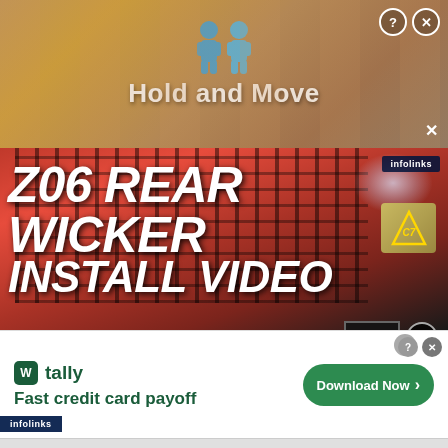[Figure (screenshot): Top banner advertisement for 'Hold and Move' app with two blue cartoon figures on a wooden background]
[Figure (screenshot): Video thumbnail showing a red Corvette C7 Z06 rear with large text 'Z06 REAR WICKER INSTALL VIDEO' in white bold italic font]
C7 CORVETTE TECH AND HOW-TO VIDEOS
C7 CORVETTE Z06 VIDEOS
Corvette C7 Z06 Rear Spoiler Wicker Install Video
[Figure (screenshot): Bottom banner advertisement for Tally app - 'Fast credit card payoff' with a green Download Now button]